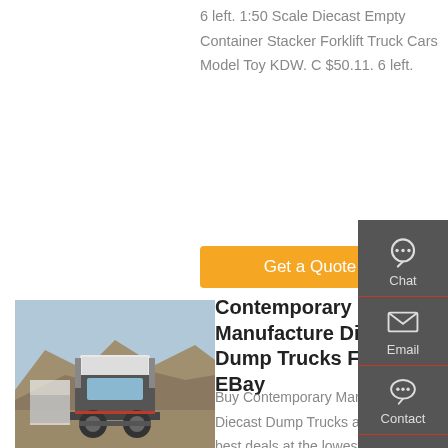6 left. 1:50 Scale Diecast Empty Container Stacker Forklift Truck Cars Model Toy KDW. C $50.11. 6 left.
Get a Quote
[Figure (photo): Rear view of a large dump/semi truck in an outdoor quarry or rocky area setting, with other trucks visible in background.]
Contemporary Manufacture Diecast Dump Trucks For Sale | EBay
Buy Contemporary Manufacture Diecast Dump Trucks and get the best deals at the lowest prices on eBay! Great Savings &
Chat
Email
Contact
Top